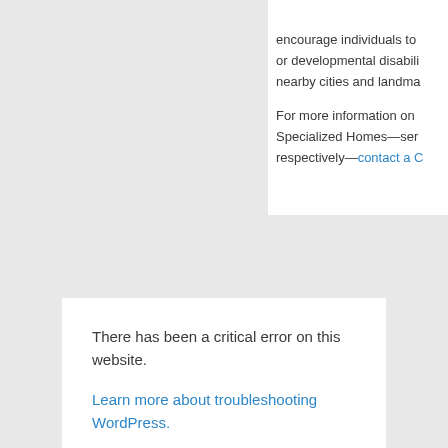encourage individuals to or developmental disabili nearby cities and landma
For more information on Specialized Homes—ser respectively—contact a C
There has been a critical error on this website.
Learn more about troubleshooting WordPress.